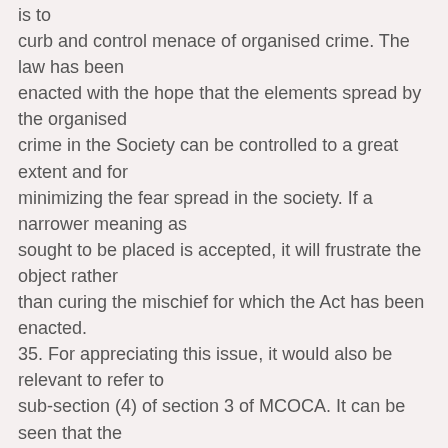is to curb and control menace of organised crime. The law has been enacted with the hope that the elements spread by the organised crime in the Society can be controlled to a great extent and for minimizing the fear spread in the society. If a narrower meaning as sought to be placed is accepted, it will frustrate the object rather than curing the mischief for which the Act has been enacted. 35. For appreciating this issue, it would also be relevant to refer to sub-section (4) of section 3 of MCOCA. It can be seen that the said provision also provides for punishment only by virtue of a person being a member of the organised crime syndicate. If the contention advanced by the respondents is to be accepted,